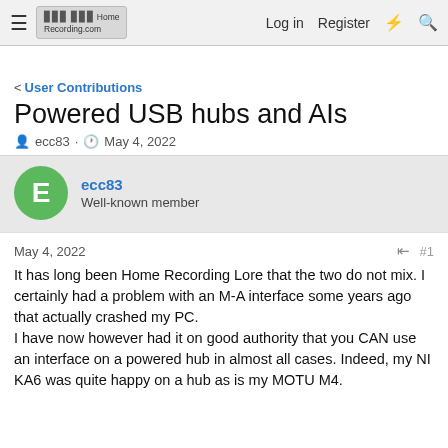≡  HomeRecording.com  Log in  Register  ⚡  🔍
< User Contributions
Powered USB hubs and AIs
ecc83 · May 4, 2022
ecc83
Well-known member
May 4, 2022  #1
It has long been Home Recording Lore that the two do not mix. I certainly had a problem with an M-A interface some years ago that actually crashed my PC.
I have now however had it on good authority that you CAN use an interface on a powered hub in almost all cases. Indeed, my NI KA6 was quite happy on a hub as is my MOTU M4.